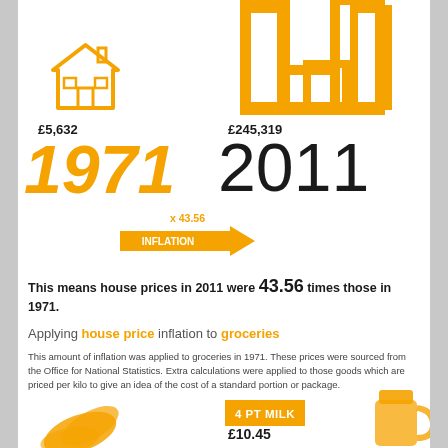[Figure (infographic): Orange house icon above 1971 price and year, and an orange bar-chart style icon top right above 2011 price and year, with an inflation arrow in between]
£5,632
1971
£245,319
2011
x 43.56 INFLATION
This means house prices in 2011 were 43.56 times those in 1971.
Applying house price inflation to groceries
This amount of inflation was applied to groceries in 1971. These prices were sourced from the Office for National Statistics. Extra calculations were applied to those goods which are priced per kilo to give an idea of the cost of a standard portion or package.
4 PT MILK
£10.45